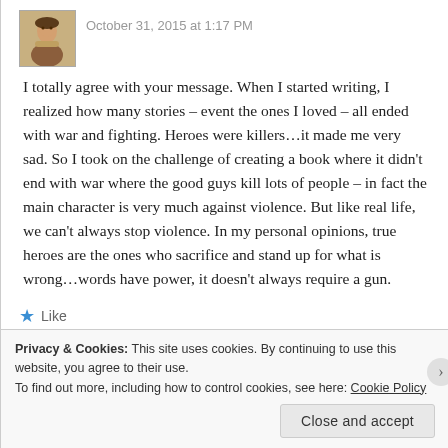October 31, 2015 at 1:17 PM
I totally agree with your message. When I started writing, I realized how many stories – event the ones I loved – all ended with war and fighting. Heroes were killers…it made me very sad. So I took on the challenge of creating a book where it didn't end with war where the good guys kill lots of people – in fact the main character is very much against violence. But like real life, we can't always stop violence. In my personal opinions, true heroes are the ones who sacrifice and stand up for what is wrong…words have power, it doesn't always require a gun.
Like
Privacy & Cookies: This site uses cookies. By continuing to use this website, you agree to their use.
To find out more, including how to control cookies, see here: Cookie Policy
Close and accept